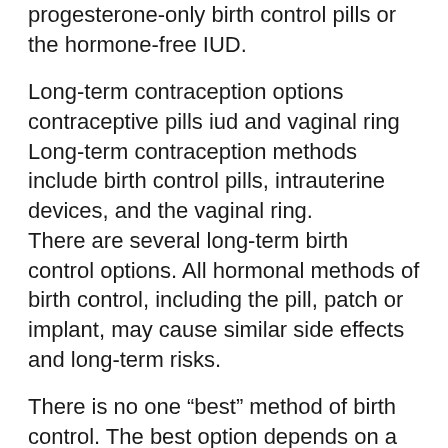progesterone-only birth control pills or the hormone-free IUD.
Long-term contraception options
contraceptive pills iud and vaginal ring
Long-term contraception methods include birth control pills, intrauterine devices, and the vaginal ring.
There are several long-term birth control options. All hormonal methods of birth control, including the pill, patch or implant, may cause similar side effects and long-term risks.
There is no one “best” method of birth control. The best option depends on a person’s lifestyle and medical history.
Most long-term birth control options involve the use of hormones. The hormones work in two main ways: stopping ovulation and thickening the cervical mucus, which makes it difficult for the egg and sperm to meet.